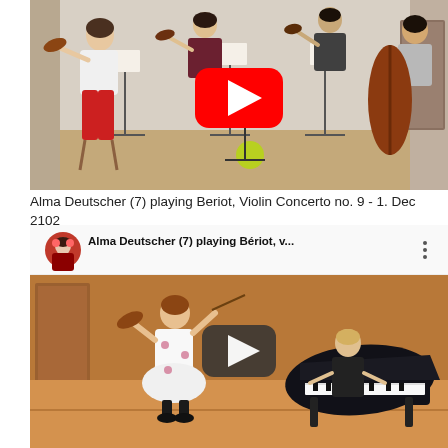[Figure (screenshot): YouTube video thumbnail showing musicians in a rehearsal room. Multiple string players (violinists, cellist) are seated with music stands. A large red YouTube play button is visible in the center. A yellow-green ball is on the floor.]
Alma Deutscher (7) playing Beriot, Violin Concerto no. 9 - 1. Dec 2102
[Figure (screenshot): YouTube video embed showing a young girl in a white dress playing violin on a concert stage, with a pianist at a grand piano in the background. The YouTube interface shows the title 'Alma Deutscher (7) playing Bériot, v...' with a channel avatar, three-dot menu, and a dark play button overlay.]